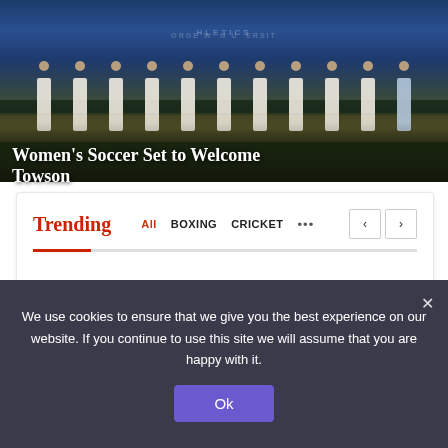[Figure (photo): Women's soccer team lined up on the field at George Washington University athletics facility, wearing white uniforms, with blue bleachers and signage in background]
Women's Soccer Set to Welcome Towson
Trending
All  BOXING  CRICKET  ...
We use cookies to ensure that we give you the best experience on our website. If you continue to use this site we will assume that you are happy with it.
Ok